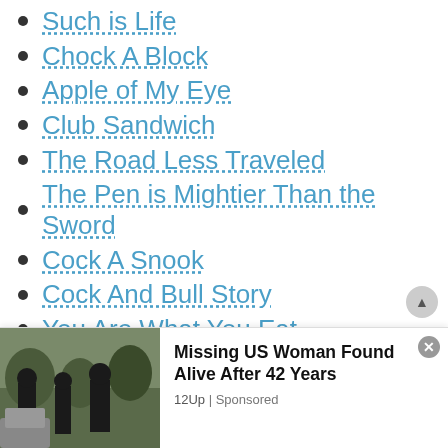Such is Life
Chock A Block
Apple of My Eye
Club Sandwich
The Road Less Traveled
The Pen is Mightier Than the Sword
Cock A Snook
Cock And Bull Story
You Are What You Eat
The Game is Afoot
Come What May
To err is Human
You Can't Teach an Old Dog New Tricks
Wish You Were Here
[Figure (screenshot): Advertisement banner at the bottom of the page showing a photo of police officers and text 'Missing US Woman Found Alive After 42 Years' with source '12Up | Sponsored']